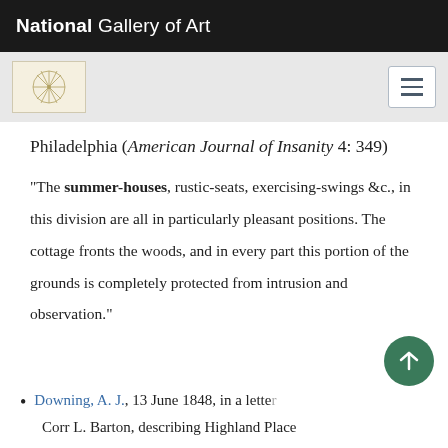National Gallery of Art
Philadelphia (American Journal of Insanity 4: 349)
“The summer-houses, rustic-seats, exercising-swings &c., in this division are all in particularly pleasant positions. The cottage fronts the woods, and in every part this portion of the grounds is completely protected from intrusion and observation.”
Downing, A. J., 13 June 1848, in a letter to Corr L. Barton, describing Highland Place